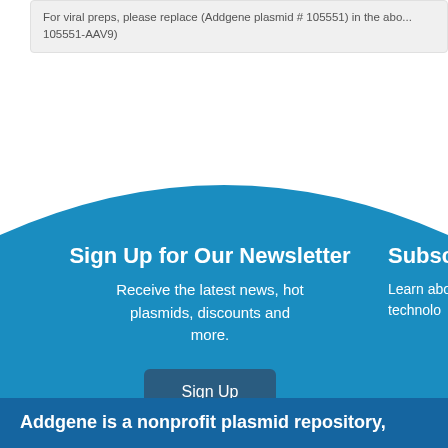For viral preps, please replace (Addgene plasmid # 105551) in the above... 105551-AAV9)
Sign Up for Our Newsletter
Receive the latest news, hot plasmids, discounts and more.
Sign Up
Subscr...
Learn abou... technolo...
Addgene is a nonprofit plasmid repository,